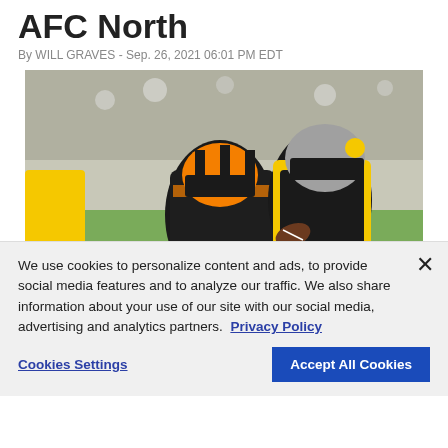AFC North
By WILL GRAVES - Sep. 26, 2021 06:01 PM EDT
[Figure (photo): NFL game photo showing Pittsburgh Steelers player carrying the ball being tackled by Cincinnati Bengals defenders on a football field]
We use cookies to personalize content and ads, to provide social media features and to analyze our traffic. We also share information about your use of our site with our social media, advertising and analytics partners. Privacy Policy
Cookies Settings | Accept All Cookies